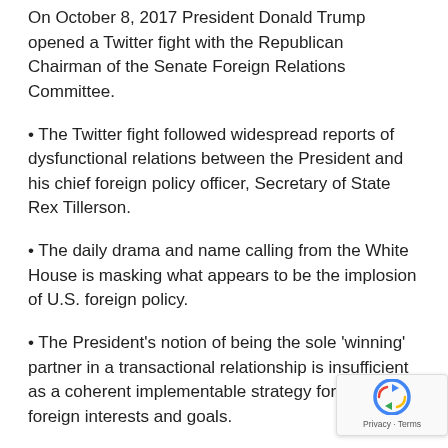On October 8, 2017 President Donald Trump opened a Twitter fight with the Republican Chairman of the Senate Foreign Relations Committee.
The Twitter fight followed widespread reports of dysfunctional relations between the President and his chief foreign policy officer, Secretary of State Rex Tillerson.
The daily drama and name calling from the White House is masking what appears to be the implosion of U.S. foreign policy.
The President's notion of being the sole 'winning' partner in a transactional relationship is insufficient as a coherent implementable strategy for U.S. foreign interests and goals.
The 'purposefully chaotic' approach to foreign policy, as practiced by the Trump Administration, has rendered U.S. diplomacy incoherent at a time of steadily increas...